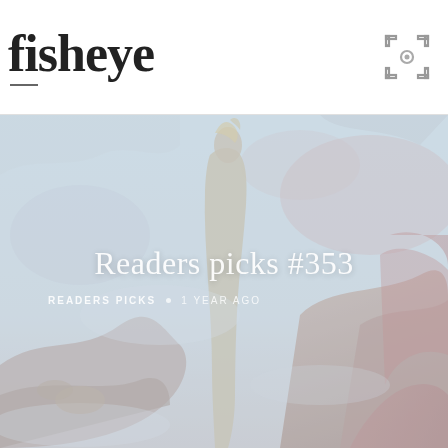fisheye
[Figure (illustration): Faded classical painting used as hero background image showing a rocky mountainous scene with a robed figure, in muted blues, pinks, and reds.]
Readers picks #353
READERS PICKS  •  1 YEAR AGO